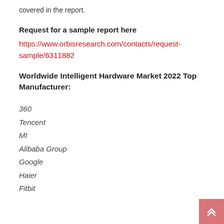covered in the report.
Request for a sample report here
https://www.orbisresearch.com/contacts/request-sample/6311882
Worldwide Intelligent Hardware Market 2022 Top Manufacturer:
360
Tencent
MI
Alibaba Group
Google
Haier
Fitbit